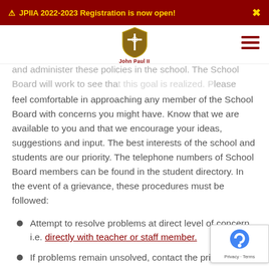⚠ JPIIA 2022-2023 Registration is now open!
[Figure (logo): John Paul II Academy shield logo with cross and text 'John Paul II']
and administer these policies in the school. The School Board will work to see that this goal is realized. Please feel comfortable in approaching any member of the School Board with concerns you might have. Know that we are available to you and that we encourage your ideas, suggestions and input. The best interests of the school and students are our priority. The telephone numbers of School Board members can be found in the student directory. In the event of a grievance, these procedures must be followed:
Attempt to resolve problems at direct level of concern, i.e. directly with teacher or staff member.
If problems remain unsolved, contact the principal.
Further concerns should be placed in writing to the School Board as soon as possible.
If grievance still exists, contact the Office of...